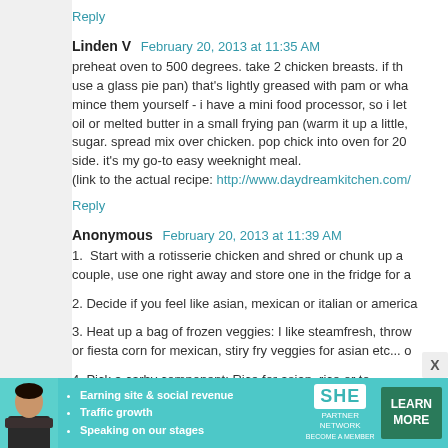Reply
Linden V  February 20, 2013 at 11:35 AM
preheat oven to 500 degrees. take 2 chicken breasts. if th use a glass pie pan) that's lightly greased with pam or wha mince them yourself - i have a mini food processor, so i let oil or melted butter in a small frying pan (warm it up a little, sugar. spread mix over chicken. pop chick into oven for 20 side. it's my go-to easy weeknight meal. (link to the actual recipe: http://www.daydreamkitchen.com/
Reply
Anonymous  February 20, 2013 at 11:39 AM
1.  Start with a rotisserie chicken and shred or chunk up a couple, use one right away and store one in the fridge for a
2. Decide if you feel like asian, mexican or italian or america
3. Heat up a bag of frozen veggies: I like steamfresh, throw or fiesta corn for mexican, stiry fry veggies for asian etc... o
4. Pick a carby component: Rice for asian, rice or to
[Figure (infographic): SHE Partner Network advertisement banner with woman photo, bullet points about earning site & social revenue, traffic growth, speaking on our stages, SHE logo, and LEARN MORE button]